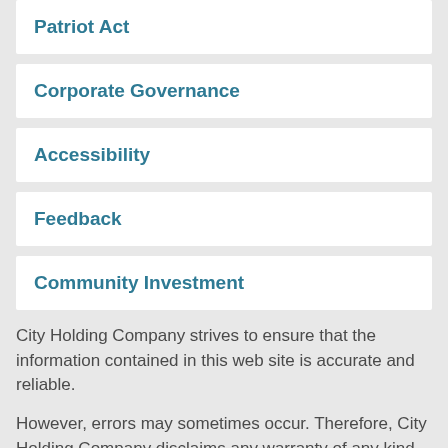Patriot Act
Corporate Governance
Accessibility
Feedback
Community Investment
City Holding Company strives to ensure that the information contained in this web site is accurate and reliable.
However, errors may sometimes occur. Therefore, City Holding Company disclaims any warranty of any kind, whether express or implied, as to any